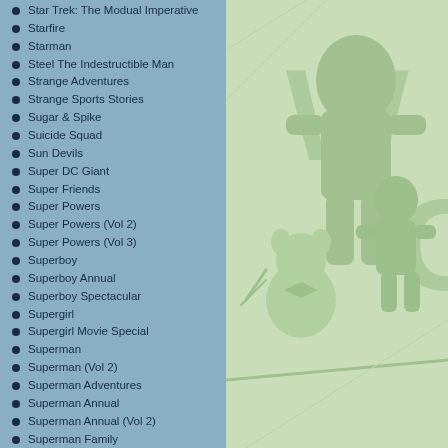Star Trek: The Modual Imperative
Starfire
Starman
Steel The Indestructible Man
Strange Adventures
Strange Sports Stories
Sugar & Spike
Suicide Squad
Sun Devils
Super DC Giant
Super Friends
Super Powers
Super Powers (Vol 2)
Super Powers (Vol 3)
Superboy
Superboy Annual
Superboy Spectacular
Supergirl
Supergirl Movie Special
Superman
Superman (Vol 2)
Superman Adventures
Superman Annual
Superman Annual (Vol 2)
Superman Family
Superman Record
Superman Special
Superman: Man of Steel
Superman: The Secret Years
Superman's Girlfriend Lois Lane
Superman's Girlfriend Lois Lane Annual
[Figure (illustration): Green-tinted comic book illustration showing superhero characters including what appears to be characters in a DC comics style, with large partial text letters 'WO' and 'C' visible on the right side]